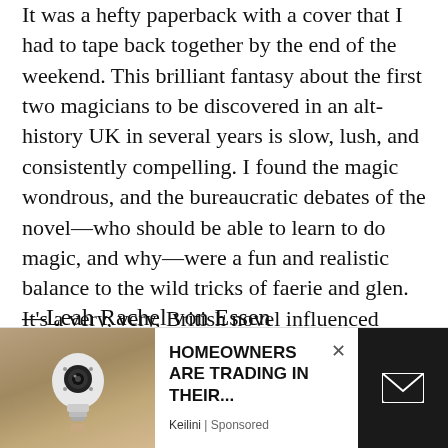It was a hefty paperback with a cover that I had to tape back together by the end of the weekend. This brilliant fantasy about the first two magicians to be discovered in an alt-history UK in several years is slow, lush, and consistently compelling. I found the magic wondrous, and the bureaucratic debates of the novel—who should be able to learn to do magic, and why—were a fun and realistic balance to the wild tricks of faerie and glen. It's a very, very, British novel influenced strongly by the old fairy tales that I love.
—Leah Rachel von Essen
[Figure (photo): Advertisement banner showing a security camera light bulb product on the left, text 'HOMEOWNERS ARE TRADING IN THEIR...' in the center with sponsor 'Keilini | Sponsored', a close button X, and a dark panel with envelope icon on the right.]